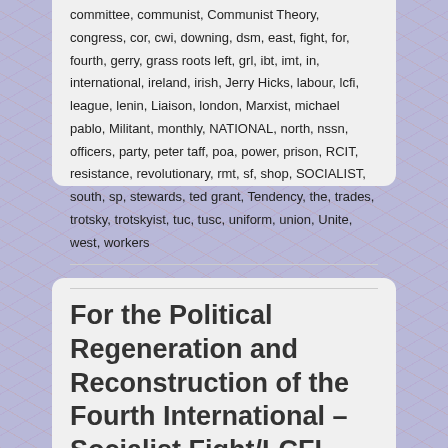committee, communist, Communist Theory, congress, cor, cwi, downing, dsm, east, fight, for, fourth, gerry, grass roots left, grl, ibt, imt, in, international, ireland, irish, Jerry Hicks, labour, lcfi, league, lenin, Liaison, london, Marxist, michael pablo, Militant, monthly, NATIONAL, north, nssn, officers, party, peter taff, poa, power, prison, RCIT, resistance, revolutionary, rmt, sf, shop, SOCIALIST, south, sp, stewards, ted grant, Tendency, the, trades, trotsky, trotskyist, tuc, tusc, uniform, union, Unite, west, workers
For the Political Regeneration and Reconstruction of the Fourth International – Socialist Fight/LCFI Reply to the RCIT Document 'Healy